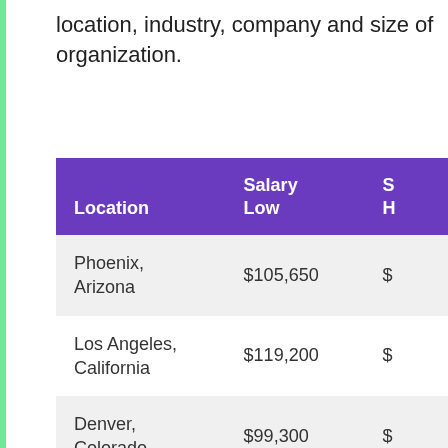location, industry, company and size of organization.
| Location | Salary Low | S H |
| --- | --- | --- |
| Phoenix, Arizona | $105,650 | $ |
| Los Angeles, California | $119,200 | $ |
| Denver, Colorado | $99,300 | $ |
| Washington, | $121,000 | $ |